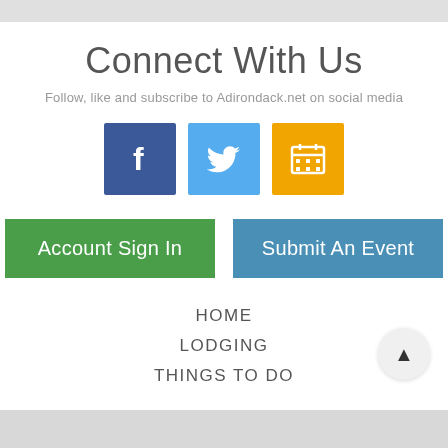Connect With Us
Follow, like and subscribe to Adirondack.net on social media
[Figure (illustration): Three social media icon buttons: Facebook (blue), Twitter (light blue), and a calendar/event icon (orange/yellow)]
Account Sign In
Submit An Event
HOME
LODGING
THINGS TO DO